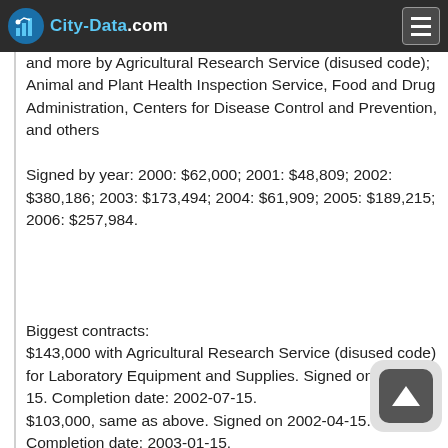City-Data.com
and more by Agricultural Research Service (disused code); Animal and Plant Health Inspection Service, Food and Drug Administration, Centers for Disease Control and Prevention, and others
Signed by year: 2000: $62,000; 2001: $48,809; 2002: $380,186; 2003: $173,494; 2004: $61,909; 2005: $189,215; 2006: $257,984.
Biggest contracts:
$143,000 with Agricultural Research Service (disused code) for Laboratory Equipment and Supplies. Signed on 2002-03-15. Completion date: 2002-07-15.
$103,000, same as above. Signed on 2002-04-15. Completion date: 2003-01-15.
$100,639 with Animal and Plant Health Inspection Service for Laboratory Equipment and Supplies. Signed on 2003-08-15. Completion date: 2003-11-15.